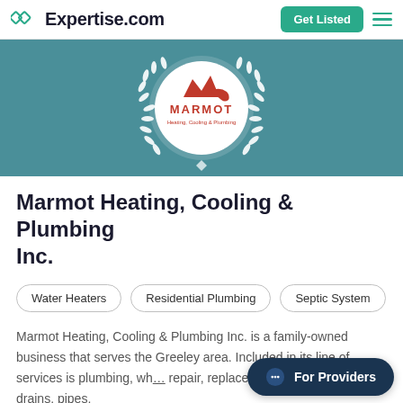Expertise.com
[Figure (logo): Marmot Heating, Cooling & Plumbing Inc. logo on teal background with laurel wreath badge]
Marmot Heating, Cooling & Plumbing Inc.
Water Heaters
Residential Plumbing
Septic System
Marmot Heating, Cooling & Plumbing Inc. is a family-owned business that serves the Greeley area. Included in its line of services is plumbing, wh... repair, replacement, and installation of drains, pipes,